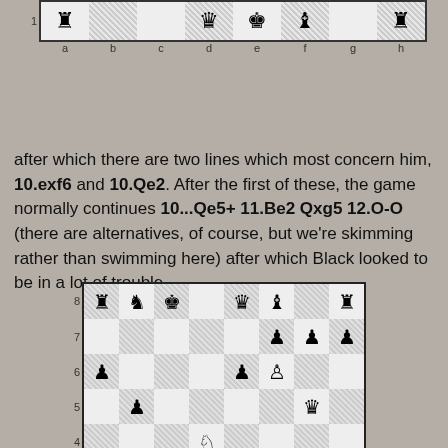[Figure (other): Chess board diagram showing partial rank 1 with pieces: rook on a1, queen on d1, king on e1, bishop on f1, rook on h1. File labels a-h below.]
after which there are two lines which most concern him, 10.exf6 and 10.Qe2. After the first of these, the game normally continues 10...Qe5+ 11.Be2 Qxg5 12.O-O (there are alternatives, of course, but we're skimming rather than swimming here) after which Black looked to be in a lot of trouble
[Figure (other): Chess board diagram showing position after 12.O-O with multiple pieces on ranks 2-8.]